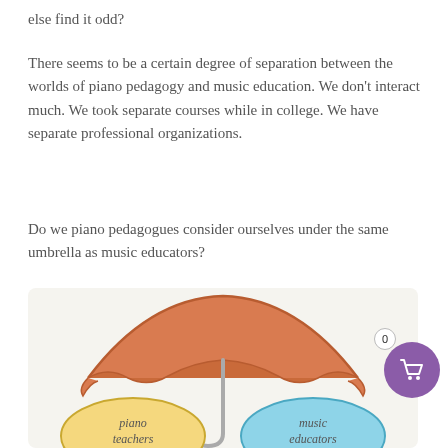else find it odd?
There seems to be a certain degree of separation between the worlds of piano pedagogy and music education. We don't interact much. We took separate courses while in college. We have separate professional organizations.
Do we piano pedagogues consider ourselves under the same umbrella as music educators?
[Figure (illustration): An illustration of an orange umbrella covering two circles labeled 'piano teachers' (yellow) and 'music educators' (blue), with a purple shopping cart button overlay in the bottom right.]